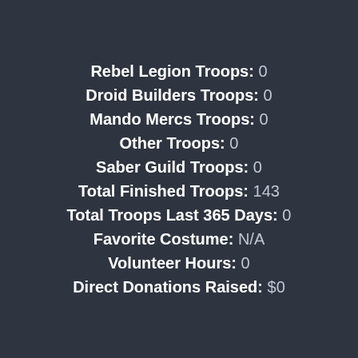Rebel Legion Troops: 0
Droid Builders Troops: 0
Mando Mercs Troops: 0
Other Troops: 0
Saber Guild Troops: 0
Total Finished Troops: 143
Total Troops Last 365 Days: 0
Favorite Costume: N/A
Volunteer Hours: 0
Direct Donations Raised: $0